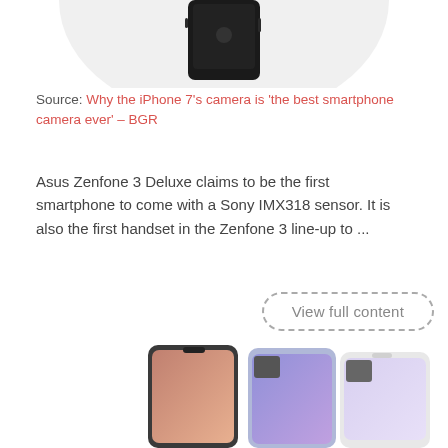[Figure (photo): Partial view of iPhone 7 on white circular background, cropped at top]
Source: Why the iPhone 7's camera is 'the best smartphone camera ever' – BGR
Asus Zenfone 3 Deluxe claims to be the first smartphone to come with a Sony IMX318 sensor. It is also the first handset in the Zenfone 3 line-up to ...
View full content
Best of Android 2016: Camera – Android Author
[Figure (photo): Three Android smartphones shown from the back/front, cropped at bottom of page]